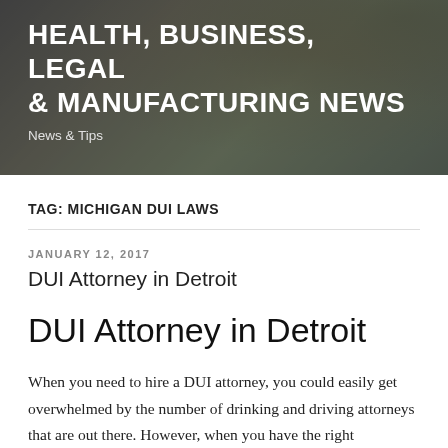[Figure (photo): Header banner with blurred background photo of indoor plants and desk, dark overlay with white text]
HEALTH, BUSINESS, LEGAL & MANUFACTURING NEWS
News & Tips
TAG: MICHIGAN DUI LAWS
JANUARY 12, 2017
DUI Attorney in Detroit
DUI Attorney in Detroit
When you need to hire a DUI attorney, you could easily get overwhelmed by the number of drinking and driving attorneys that are out there. However, when you have the right information, you will be in a position to make an informed decision when hiring one. Here are some tips to